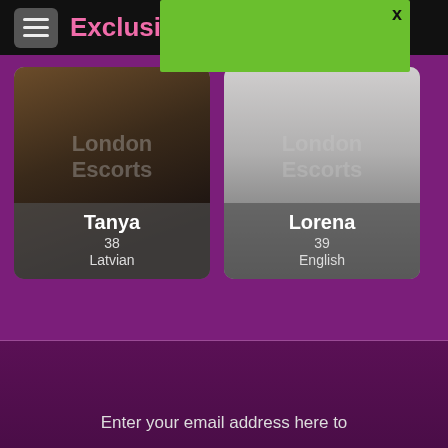Exclusi
[Figure (photo): Profile card for Tanya, age 38, Latvian. Dark photo showing a person in dark clothing.]
[Figure (photo): Profile card for Lorena, age 39, English. Greyscale photo showing legs of a person.]
Enter your email address here to